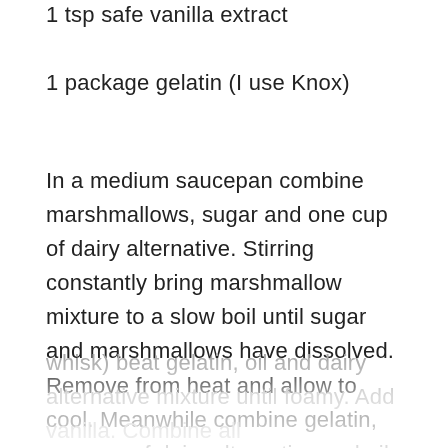1 tsp safe vanilla extract
1 package gelatin (I use Knox)
In a medium saucepan combine marshmallows, sugar and one cup of dairy alternative. Stirring constantly bring marshmallow mixture to a slow boil until sugar and marshmallows have dissolved. Remove from heat and allow to cool. Meanwhile combine gelatin, one cup of dairy alternative and oil, allow to stand for five minutes. Using a stand or hand mixer (I use a whisk) beat gelatin, oil and dairy alternative mixture until foamy. Add vanilla. Combine all